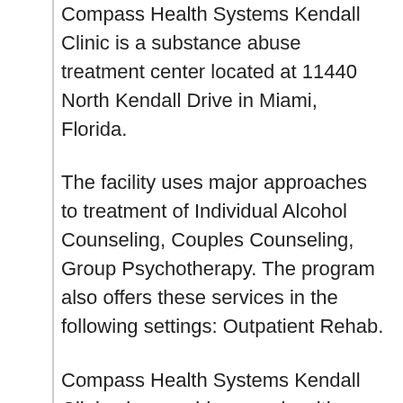Compass Health Systems Kendall Clinic is a substance abuse treatment center located at 11440 North Kendall Drive in Miami, Florida.
The facility uses major approaches to treatment of Individual Alcohol Counseling, Couples Counseling, Group Psychotherapy. The program also offers these services in the following settings: Outpatient Rehab.
Compass Health Systems Kendall Clinic also provides people with a number of special programs tailored to the specific needs of clients, such as: Court Ordered Outpatient Rehab. Finally, Compass Health Systems Kendall Clinic allows the following types of payment: Self-Payment, Medicaid for Drug Rehab, Medicare for Addiction Treatment